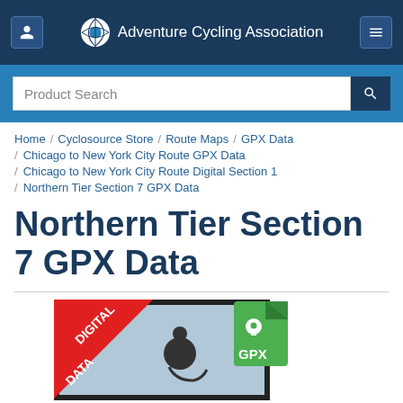Adventure Cycling Association
Product Search
Home / Cyclosource Store / Route Maps / GPX Data / Chicago to New York City Route GPX Data / Chicago to New York City Route Digital Section 1 / Northern Tier Section 7 GPX Data
Northern Tier Section 7 GPX Data
[Figure (illustration): Product image showing a digital map product with 'DIGITAL DATA' red banner in the corner and a green GPX file icon, with a silhouette of a cyclist]